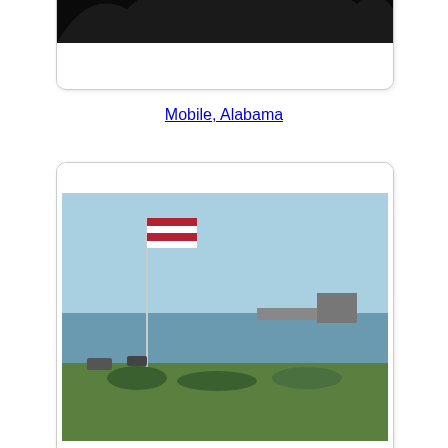[Figure (photo): Partial view of Mobile, Alabama photo card clipped at top of page]
Mobile, Alabama
[Figure (photo): Fairhope, Alabama waterfront with American flag and pier visible]
Fairhope, Alabama
[Figure (photo): Foley, Alabama street scene with trees and a building with columns]
Foley, Alabama